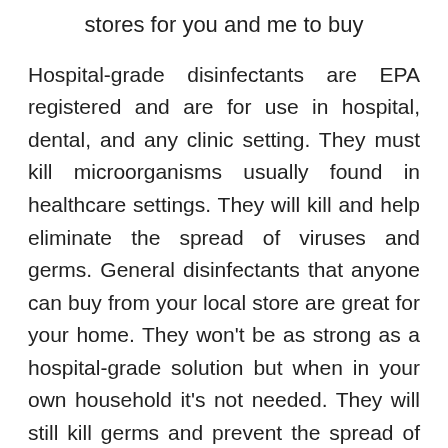stores for you and me to buy
Hospital-grade disinfectants are EPA registered and are for use in hospital, dental, and any clinic setting. They must kill microorganisms usually found in healthcare settings. They will kill and help eliminate the spread of viruses and germs. General disinfectants that anyone can buy from your local store are great for your home. They won't be as strong as a hospital-grade solution but when in your own household it's not needed. They will still kill germs and prevent the spread of them
So, when should you clean and when